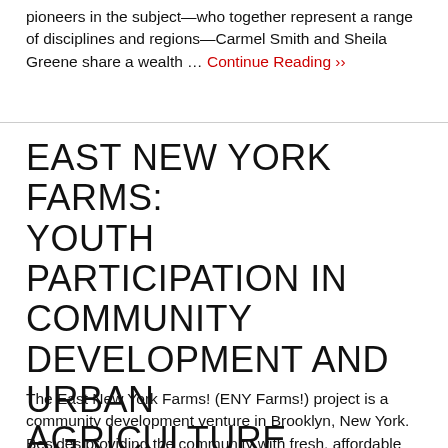pioneers in the subject—who together represent a range of disciplines and regions—Carmel Smith and Sheila Greene share a wealth … Continue Reading ››
EAST NEW YORK FARMS: YOUTH PARTICIPATION IN COMMUNITY DEVELOPMENT AND URBAN AGRICULTURE
The East New York Farms! (ENY Farms!) project is a community development venture in Brooklyn, New York. Besides providing the community with fresh, affordable